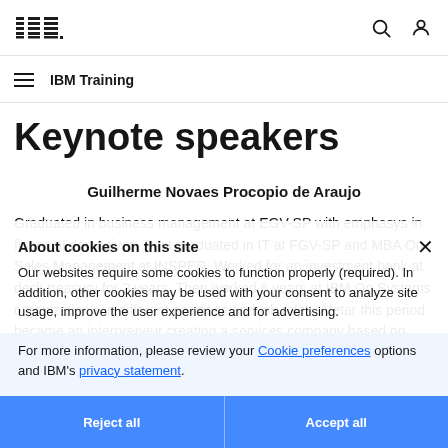IBM Training
Keynote speakers
Guilherme Novaes Procopio de Araujo
Graduated in business management at FGV-SP with emphasys in financial derivativos. Post graduated in IT at FGV-SP and MBA On Sales Management at INSPER. Worked for an investment bank at desk treasury for 2 years. Then worked 6 years at IBM On Systems organization's in different positions and job roles. Afetar this period became an interpreneur creating a services company based on cloud business targeting small companies. After 3 years sold his shares for the other associates and moved to BMC Software leading Cloud
About cookies on this site
Our websites require some cookies to function properly (required). In addition, other cookies may be used with your consent to analyze site usage, improve the user experience and for advertising.
For more information, please review your Cookie preferences options and IBM's privacy statement.